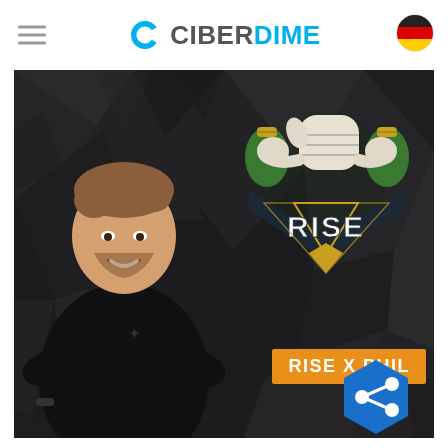CIBERDIME
[Figure (photo): A young man in a black t-shirt smiling, standing in front of a dark geometric background with the RISE esports logo on the right side. An orange banner reads 'RISE X PHIL'. A blue hexagon share icon is visible in the bottom right. The CiberDime website screenshot with hamburger menu on left and German flag on right.]